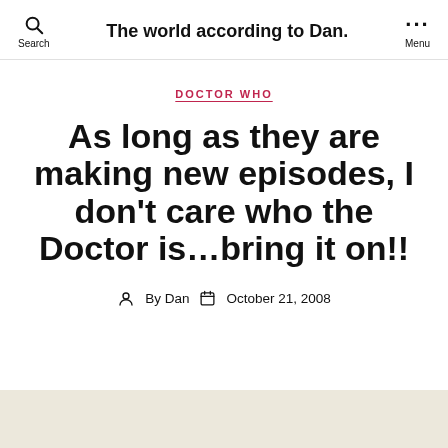The world according to Dan.
DOCTOR WHO
As long as they are making new episodes, I don't care who the Doctor is…bring it on!!
By Dan  October 21, 2008